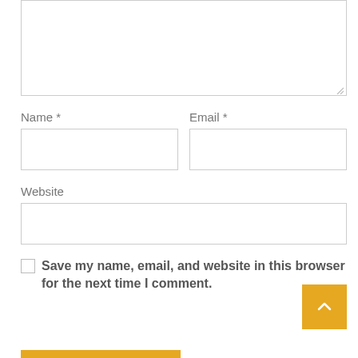[Figure (screenshot): Comment form textarea (top portion cut off), showing empty resizable text area]
Name *
[Figure (screenshot): Name input field (empty text box)]
Email *
[Figure (screenshot): Email input field (empty text box)]
Website
[Figure (screenshot): Website input field (empty text box)]
Save my name, email, and website in this browser for the next time I comment.